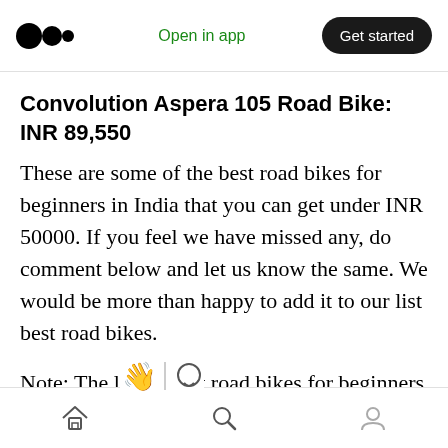Open in app | Get started
Convolution Aspera 105 Road Bike: INR 89,550
These are some of the best road bikes for beginners in India that you can get under INR 50000. If you feel we have missed any, do comment below and let us know the same. We would be more than happy to add it to our list best road bikes.
Note: The list of best road bikes for beginners in India are compiled from the internet. Velocrush 'hasn't' reviewed t'  personally. To know which bike is suitable for you, feel free to
Home | Search | Profile